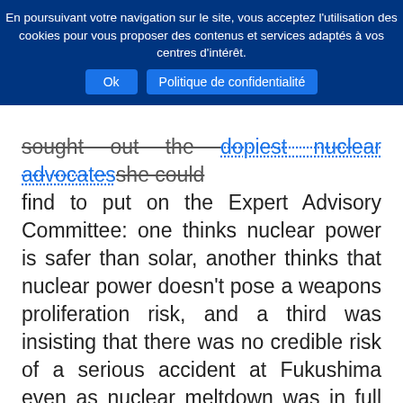En poursuivant votre navigation sur le site, vous acceptez l'utilisation des cookies pour vous proposer des contenus et services adaptés à vos centres d'intérêt. Ok Politique de confidentialité
sought out the dopiest nuclear advocates she could find to put on the Expert Advisory Committee: one thinks nuclear power is safer than solar, another thinks that nuclear power doesn't pose a weapons proliferation risk, and a third was insisting that there was no credible risk of a serious accident at Fukushima even as nuclear meltdown was in full swing.
Announcing the establishment of the Royal Commission in March 2015, South Australian Premier Jay Weatherill said:
We have a specific mandate to consult